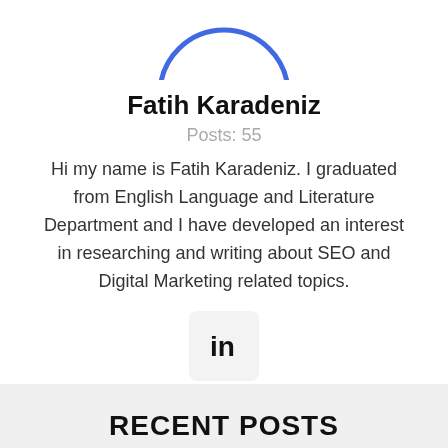[Figure (illustration): Partial circular avatar image outline in blue, cropped at top]
Fatih Karadeniz
Posts: 55
Hi my name is Fatih Karadeniz. I graduated from English Language and Literature Department and I have developed an interest in researching and writing about SEO and Digital Marketing related topics.
[Figure (logo): LinkedIn icon in a rounded square box]
RECENT POSTS